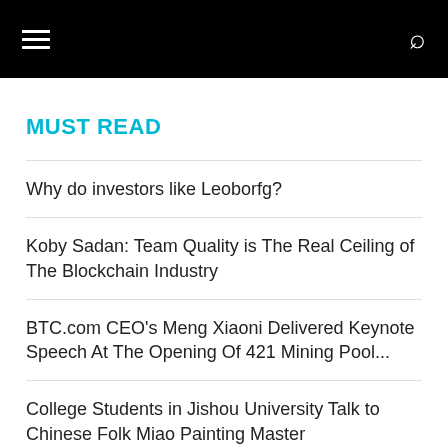MUST READ
Why do investors like Leoborfg?
Koby Sadan: Team Quality is The Real Ceiling of The Blockchain Industry
BTC.com CEO's Meng Xiaoni Delivered Keynote Speech At The Opening Of 421 Mining Pool...
College Students in Jishou University Talk to Chinese Folk Miao Painting Master